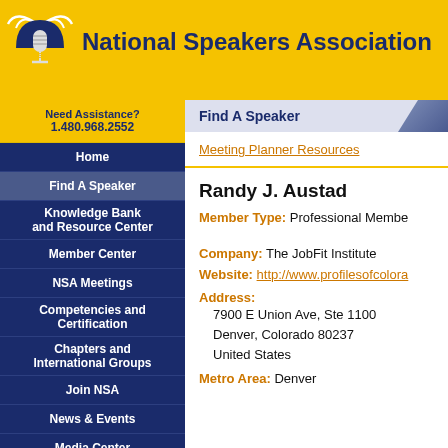National Speakers Association
Need Assistance? 1.480.968.2552
Home
Find A Speaker
Knowledge Bank and Resource Center
Member Center
NSA Meetings
Competencies and Certification
Chapters and International Groups
Join NSA
News & Events
Media Center
About NSA
Advertising and Sponsorship
Find A Speaker
Meeting Planner Resources
Randy J. Austad
Member Type:  Professional Member
Company:  The JobFit Institute
Website:  http://www.profilesofcolora
Address:
7900 E Union Ave, Ste 1100
Denver, Colorado 80237
United States
Metro Area:  Denver